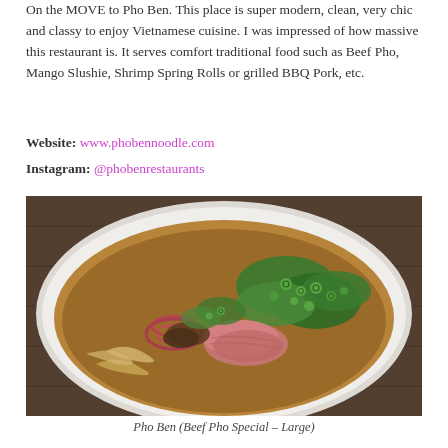On the MOVE to Pho Ben. This place is super modern, clean, very chic and classy to enjoy Vietnamese cuisine. I was impressed of how massive this restaurant is. It serves comfort traditional food such as Beef Pho, Mango Slushie, Shrimp Spring Rolls or grilled BBQ Pork, etc.
Website: www.phobennoodle.com
Instagram: @phobenrestaurants
[Figure (photo): A large white bowl of Vietnamese Beef Pho soup with noodles, sliced beef, red onions, green onions, and herbs in brown broth, photographed from above on a dark wood table.]
Pho Ben (Beef Pho Special – Large)